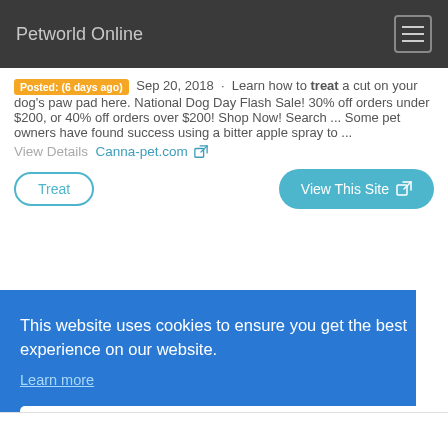Petworld Online
Posted: (6 days ago) Sep 20, 2018 · Learn how to treat a cut on your dog's paw pad here. National Dog Day Flash Sale! 30% off orders under $200, or 40% off orders over $200! Shop Now! Search ... Some pet owners have found success using a bitter apple spray to ...
View Details Canna-pet.com
Treat  |  View This Site
This website uses cookies to ensure you get the best experience on our website.
Learn more
Got it!